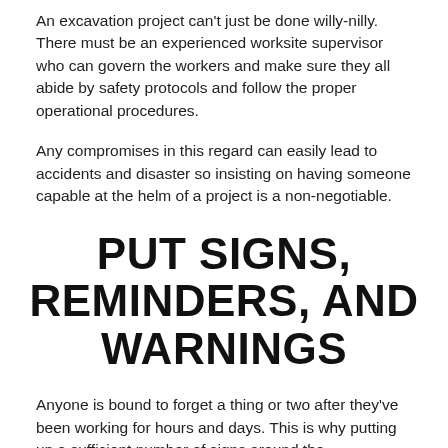An excavation project can't just be done willy-nilly. There must be an experienced worksite supervisor who can govern the workers and make sure they all abide by safety protocols and follow the proper operational procedures.
Any compromises in this regard can easily lead to accidents and disaster so insisting on having someone capable at the helm of a project is a non-negotiable.
PUT SIGNS, REMINDERS, AND WARNINGS
Anyone is bound to forget a thing or two after they've been working for hours and days. This is why putting up a sufficient number of signs around the